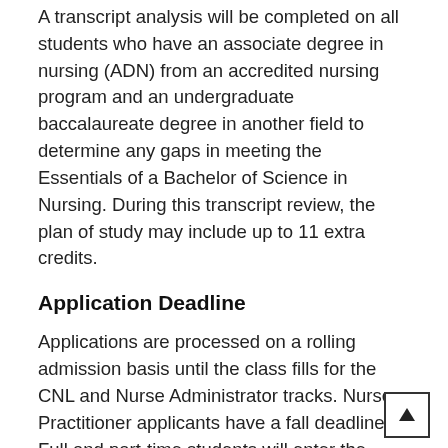A transcript analysis will be completed on all students who have an associate degree in nursing (ADN) from an accredited nursing program and an undergraduate baccalaureate degree in another field to determine any gaps in meeting the Essentials of a Bachelor of Science in Nursing. During this transcript review, the plan of study may include up to 11 extra credits.
Application Deadline
Applications are processed on a rolling admission basis until the class fills for the CNL and Nurse Administrator tracks. Nurse Practitioner applicants have a fall deadline. Full and part-time students will enter the program in the summer or fall semester of each year.
Application Evaluation Criteria
Evaluation criteria includes previous academic and scholarly work, professional experience, professional references, and a personal and professional goal